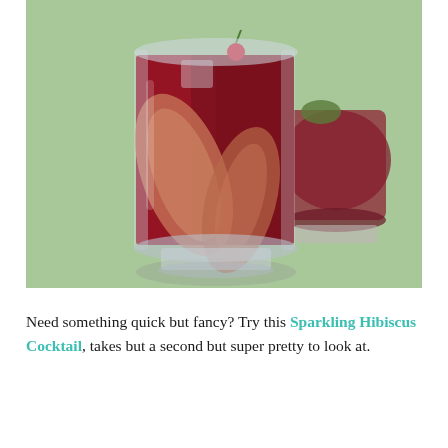[Figure (photo): A close-up photo of a dark red hibiscus cocktail in a clear rocks glass with apple slices and a cherry, on a light green tablecloth. A second similar glass is visible in the background.]
Need something quick but fancy? Try this Sparkling Hibiscus Cocktail, takes but a second but super pretty to look at.